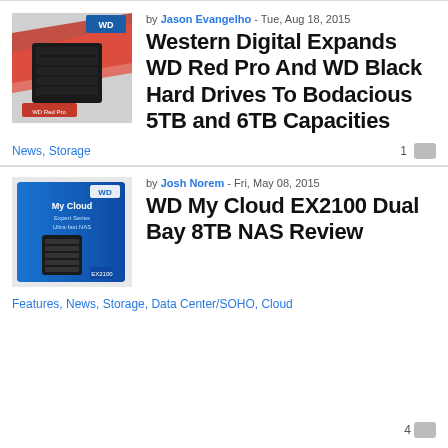by Jason Evangelho - Tue, Aug 18, 2015
Western Digital Expands WD Red Pro And WD Black Hard Drives To Bodacious 5TB and 6TB Capacities
News, Storage   1
by Josh Norem - Fri, May 08, 2015
WD My Cloud EX2100 Dual Bay 8TB NAS Review
Features, News, Storage, Data Center/SOHO, Cloud   4